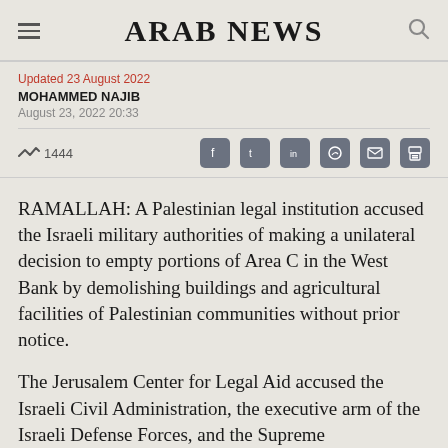ARAB NEWS
Updated 23 August 2022
MOHAMMED NAJIB
August 23, 2022 20:33
1444
RAMALLAH: A Palestinian legal institution accused the Israeli military authorities of making a unilateral decision to empty portions of Area C in the West Bank by demolishing buildings and agricultural facilities of Palestinian communities without prior notice.
The Jerusalem Center for Legal Aid accused the Israeli Civil Administration, the executive arm of the Israeli Defense Forces, and the Supreme